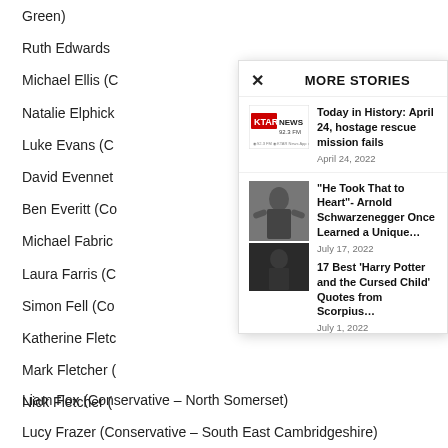Green)
Ruth Edwards
Michael Ellis (C
Natalie Elphick
Luke Evans (C
David Evennet
Ben Everitt (Co
Michael Fabric
Laura Farris (C
Simon Fell (Co
Katherine Fletc
Mark Fletcher (
Nick Fletcher (
Liam Fox (Conservative – North Somerset)
Lucy Frazer (Conservative – South East Cambridgeshire)
MORE STORIES
[Figure (logo): KTAR News 92.3 FM logo with radio and app icons]
Today in History: April 24, hostage rescue mission fails
April 24, 2022
[Figure (photo): Black and white photo of Arnold Schwarzenegger posing]
“He Took That to Heart”- Arnold Schwarzenegger Once Learned a Unique…
July 17, 2022
[Figure (photo): Dark photo of a person in formal attire]
17 Best ‘Harry Potter and the Cursed Child’ Quotes from Scorpius…
July 1, 2022